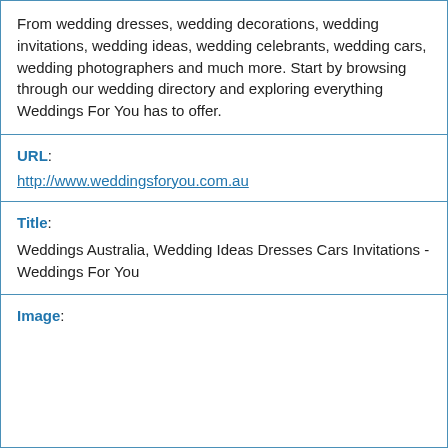From wedding dresses, wedding decorations, wedding invitations, wedding ideas, wedding celebrants, wedding cars, wedding photographers and much more. Start by browsing through our wedding directory and exploring everything Weddings For You has to offer.
URL: http://www.weddingsforyou.com.au
Title: Weddings Australia, Wedding Ideas Dresses Cars Invitations - Weddings For You
Image: